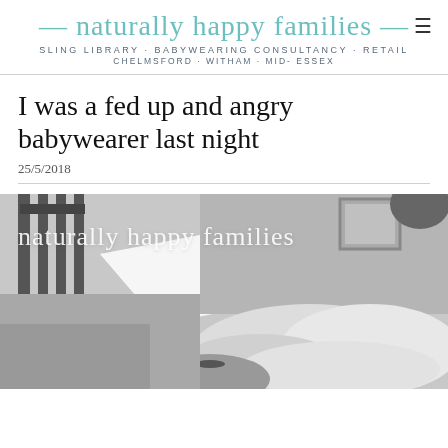naturally happy families — SLING LIBRARY · BABYWEARING CONSULTANCY · RETAIL — CHELMSFORD · WITHAM · MID- ESSEX
I was a fed up and angry babywearer last night
25/5/2018
[Figure (photo): Black and white photo of a person babywearing, with 'naturally happy families' watermark overlaid in white script]